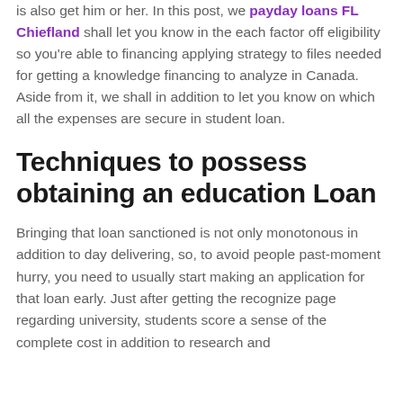is also get him or her. In this post, we payday loans FL Chiefland shall let you know in the each factor off eligibility so you're able to financing applying strategy to files needed for getting a knowledge financing to analyze in Canada. Aside from it, we shall in addition to let you know on which all the expenses are secure in student loan.
Techniques to possess obtaining an education Loan
Bringing that loan sanctioned is not only monotonous in addition to day delivering, so, to avoid people past-moment hurry, you need to usually start making an application for that loan early. Just after getting the recognize page regarding university, students score a sense of the complete cost in addition to research and